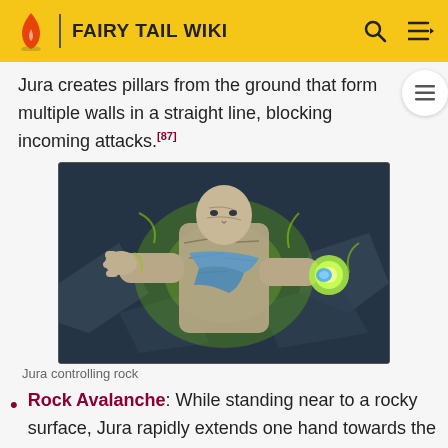FAIRY TAIL WIKI
Jura creates pillars from the ground that form multiple walls in a straight line, blocking incoming attacks.[87]
[Figure (illustration): Anime screenshot of Jura, a muscular character with a glowing green aura, controlling rock with his hands extended]
Jura controlling rock
Rock Avalanche: While standing near to a rocky surface, Jura rapidly extends one hand towards the target, his fingers placed in his most recurring hand gesture. This prompts the nearby surface to be split into boulders of various size, which are lifted in the